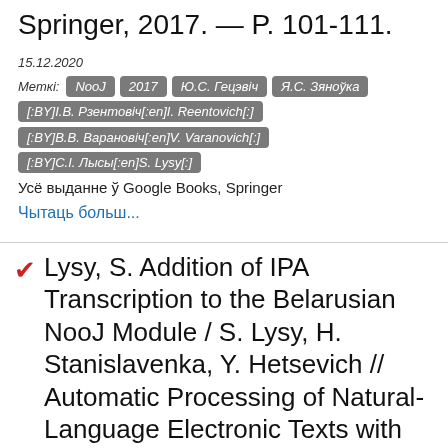Springer, 2017. — P. 101-111.
15.12.2020
Меткі: NooJ  2017  Ю.С. Гецэвіч  Я.С. Зяноўка  [:BY]І.В. Рзентовіч[:en]I. Reentovich[:]  [:BY]В.В. Варановіч[:en]V. Varanovich[:]  [:BY]С.І. Лысы[:en]S. Lysy[:]
Усё выданне ў Google Books, Springer
Чытаць больш...
✔  Lysy, S. Addition of IPA Transcription to the Belarusian NooJ Module / S. Lysy, H. Stanislavenka, Y. Hetsevich // Automatic Processing of Natural-Language Electronic Texts with NooJ: 10th International Conference, NooJ 2016, České Budějovice, Czech